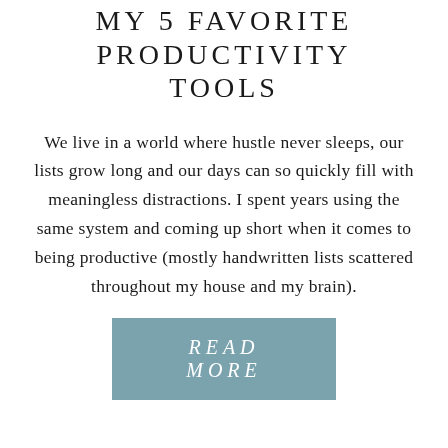MY 5 FAVORITE PRODUCTIVITY TOOLS
We live in a world where hustle never sleeps, our lists grow long and our days can so quickly fill with meaningless distractions. I spent years using the same system and coming up short when it comes to being productive (mostly handwritten lists scattered throughout my house and my brain).
READ MORE